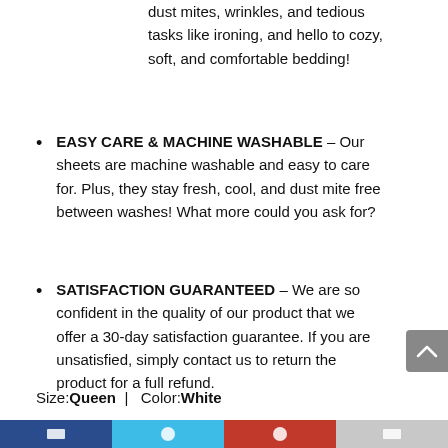dust mites, wrinkles, and tedious tasks like ironing, and hello to cozy, soft, and comfortable bedding!
EASY CARE & MACHINE WASHABLE – Our sheets are machine washable and easy to care for. Plus, they stay fresh, cool, and dust mite free between washes! What more could you ask for?
SATISFACTION GUARANTEED – We are so confident in the quality of our product that we offer a 30-day satisfaction guarantee. If you are unsatisfied, simply contact us to return the product for a full refund.
Size: Queen  |  Color: White